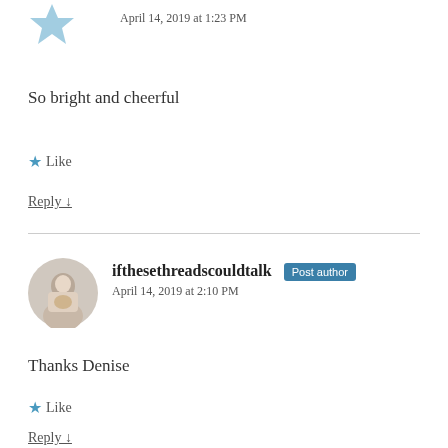April 14, 2019 at 1:23 PM
So bright and cheerful
★ Like
Reply ↓
ifthesethreadscouldtalk Post author
April 14, 2019 at 2:10 PM
Thanks Denise
★ Like
Reply ↓